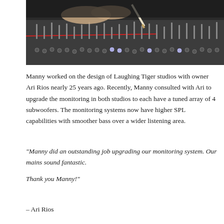[Figure (photo): Photo of a person's hands working on a large professional audio mixing console with numerous faders, knobs, and controls.]
Manny worked on the design of Laughing Tiger studios with owner Ari Rios nearly 25 years ago. Recently, Manny consulted with Ari to upgrade the monitoring in both studios to each have a tuned array of 4 subwoofers. The monitoring systems now have higher SPL capabilities with smoother bass over a wider listening area.
“Manny did an outstanding job upgrading our monitoring system. Our mains sound fantastic.

Thank you Manny!”
– Ari Rios